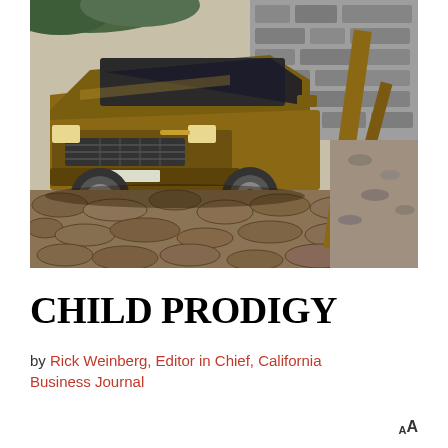[Figure (photo): A bronze/brown SUV (Land Rover Range Rover Sport) parked on a cobblestone surface, with a broken wooden fence or post visible on the right side, and a stone wall in the background.]
CHILD PRODIGY
by Rick Weinberg, Editor in Chief, California Business Journal